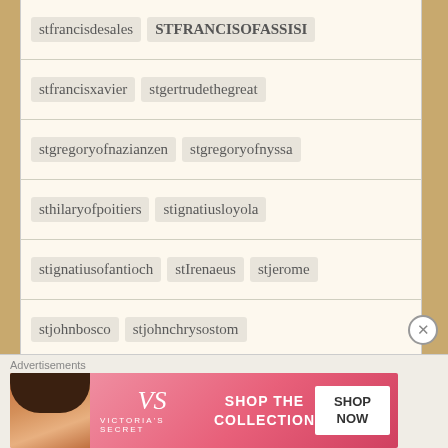stfrancisdesales  STFRANCISOFASSISI
stfrancisxavier  stgertrudethegreat
stgregoryofnazianzen  stgregoryofnyssa
sthilaryofpoitiers  stignatiusloyola
stignatiusofantioch  stIrenaeus  stjerome
stjohnbosco  stjohnchrysostom
STJOHNDAMASCENE  stjohneudes
stjohnhenrynewman  stjohnofthecross
stjohnpaul  stjohnvianney  stjohnXXIII
stjosemariaescriva  stlouisdemontfort
[Figure (other): Victoria's Secret advertisement banner with model, VS logo, SHOP THE COLLECTION text, and SHOP NOW button]